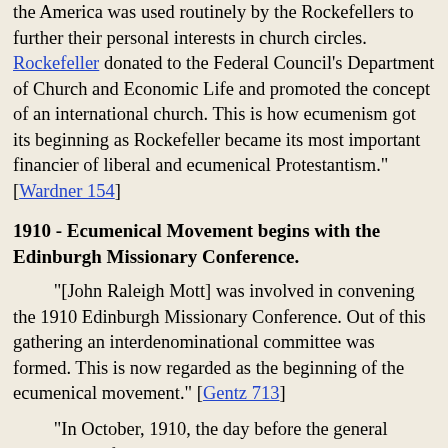the America was used routinely by the Rockefellers to further their personal interests in church circles. Rockefeller donated to the Federal Council's Department of Church and Economic Life and promoted the concept of an international church. This is how ecumenism got its beginning as Rockefeller became its most important financier of liberal and ecumenical Protestantism." [Wardner 154]
1910 - Ecumenical Movement begins with the Edinburgh Missionary Conference.
"[John Raleigh Mott] was involved in convening the 1910 Edinburgh Missionary Conference. Out of this gathering an interdenominational committee was formed. This is now regarded as the beginning of the ecumenical movement." [Gentz 713]
"In October, 1910, the day before the general convention of the Protestant Episcopal Church met at Cincinnati, Bishop Brent...spoke of the Edinburgh Conference, of the need for unity there revealed, and of his own conviction that the time had come to examine differences frankly in a world